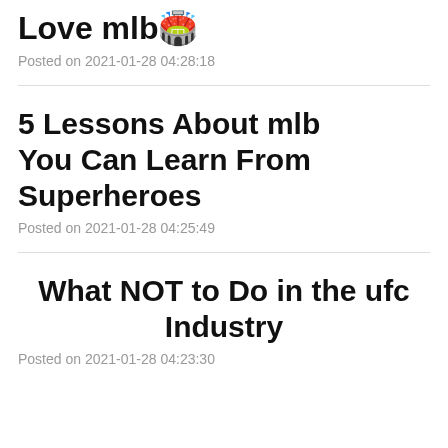Love mlb🏟️
Posted on 2021-01-28 04:28:18
5 Lessons About mlb　　You Can Learn From Superheroes
Posted on 2021-01-28 04:25:49
What NOT to Do in the ufc Industry
Posted on 2021-01-28 04:23:30